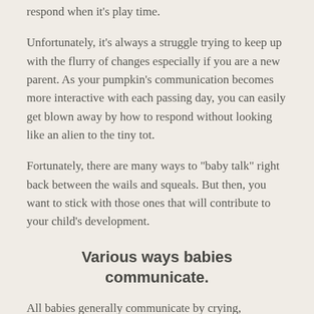respond when it's play time.
Unfortunately, it's always a struggle trying to keep up with the flurry of changes especially if you are a new parent. As your pumpkin's communication becomes more interactive with each passing day, you can easily get blown away by how to respond without looking like an alien to the tiny tot.
Fortunately, there are many ways to "baby talk" right back between the wails and squeals. But then, you want to stick with those ones that will contribute to your child's development.
Various ways babies communicate.
All babies generally communicate by crying, especially at the early stages. But then, this